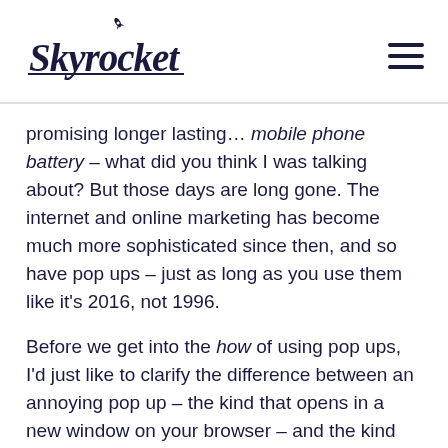[Figure (logo): Skyrocket logo in dark navy script font with a small rocket icon above the letter i]
promising longer lasting… mobile phone battery – what did you think I was talking about? But those days are long gone. The internet and online marketing has become much more sophisticated since then, and so have pop ups – just as long as you use them like it's 2016, not 1996.
Before we get into the how of using pop ups, I'd just like to clarify the difference between an annoying pop up – the kind that opens in a new window on your browser – and the kind we're talking about, which are more like popovers (and